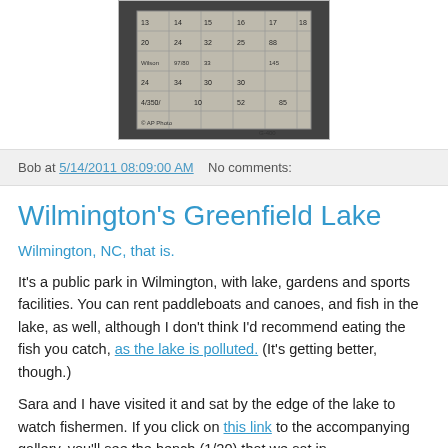[Figure (photo): A handwritten scorecard or chart photo with numbers, © AP Photo watermark visible at bottom left]
Bob at 5/14/2011 08:09:00 AM   No comments:
Wilmington's Greenfield Lake
Wilmington, NC, that is.
It's a public park in Wilmington, with lake, gardens and sports facilities. You can rent paddleboats and canoes, and fish in the lake, as well, although I don't think I'd recommend eating the fish you catch, as the lake is polluted. (It's getting better, though.)
Sara and I have visited it and sat by the edge of the lake to watch fishermen. If you click on this link to the accompanying gallery, you'll see the bench (1/20) that we sat in.